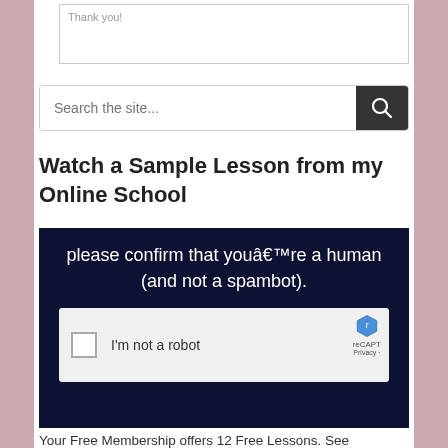Thank you!
Search the site...
Watch a Sample Lesson from my Online School
[Figure (screenshot): A reCAPTCHA verification widget embedded in a dark navy video player area. Text reads 'please confirm that youâ€™re a human (and not a spambot).' with a checkbox labeled 'I'm not a robot' and reCAPTCHA logo partially visible.]
Your Free Membership offers 12 Free Lessons. See